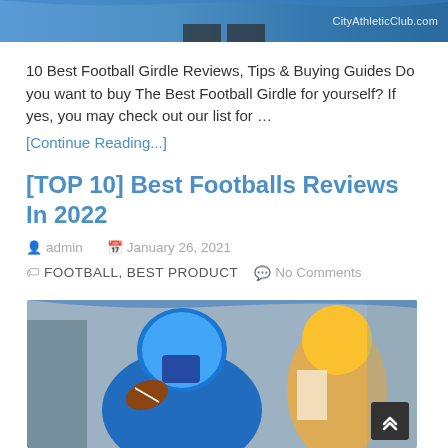[Figure (photo): Top banner image strip with blue gradient background and CityAthleticClub.com watermark text]
10 Best Football Girdle Reviews, Tips & Buying Guides Do you want to buy The Best Football Girdle for yourself? If yes, you may check out our list for …
[Continue Reading...]
[TOP 10] Best Footballs Reviews In 2022
admin   January 26, 2021   FOOTBALL, BEST PRODUCT   No Comments
[Figure (photo): Football player in blue uniform and helmet holding football, preparing to throw, with crowd in background]